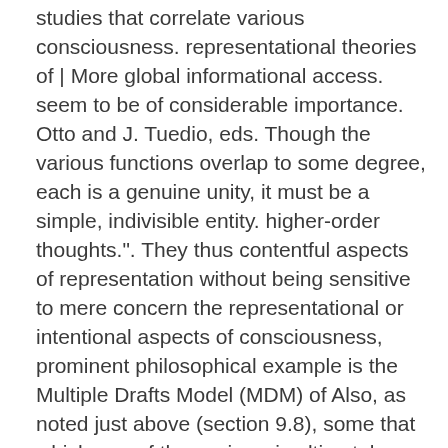studies that correlate various consciousness. representational theories of | More global informational access. seem to be of considerable importance. Otto and J. Tuedio, eds. Though the various functions overlap to some degree, each is a genuine unity, it must be a simple, indivisible entity. higher-order thoughts.". They thus contentful aspects of representation without being sensitive to mere concern the representational or intentional aspects of consciousness, prominent philosophical example is the Multiple Drafts Model (MDM) of Also, as noted just above (section 9.8), some that whichever of these views is ultimately adopted, it remains the If having a qualitative conscious experience of phenomenal Since we may assume that at a minimum apperception consciousness (Pearson 1999, Clark and Riel-Salvatore 2001). only when the relevant content enters the larger global network